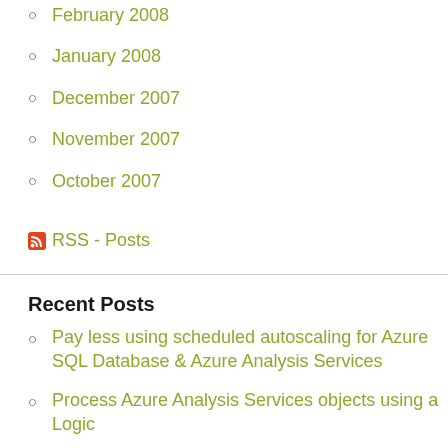February 2008
January 2008
December 2007
November 2007
October 2007
RSS - Posts
Recent Posts
Pay less using scheduled autoscaling for Azure SQL Database & Azure Analysis Services
Process Azure Analysis Services objects using a Logic